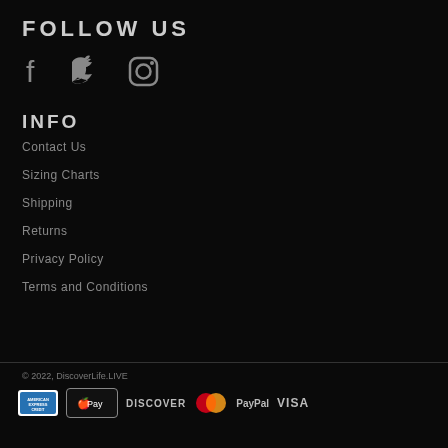FOLLOW US
[Figure (illustration): Social media icons: Facebook, Twitter, Instagram]
INFO
Contact Us
Sizing Charts
Shipping
Returns
Privacy Policy
Terms and Conditions
© 2022, DiscoverLife.LIVE
[Figure (logo): Payment icons: American Express, Apple Pay, Discover, MasterCard, PayPal, Visa]